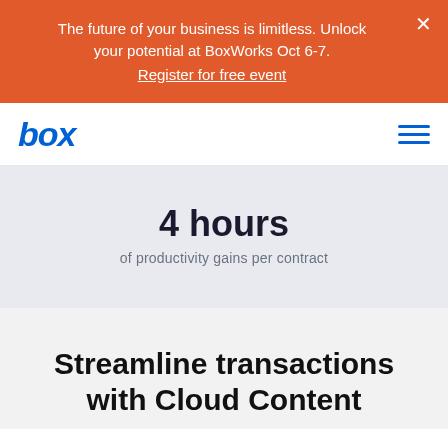The future of your business is limitless. Unlock your potential at BoxWorks Oct 6-7. Register for free event
box
4 hours
of productivity gains per contract
Streamline transactions with Cloud Content